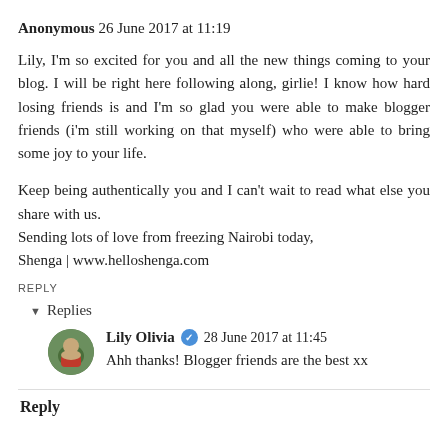Anonymous 26 June 2017 at 11:19
Lily, I'm so excited for you and all the new things coming to your blog. I will be right here following along, girlie! I know how hard losing friends is and I'm so glad you were able to make blogger friends (i'm still working on that myself) who were able to bring some joy to your life.

Keep being authentically you and I can't wait to read what else you share with us.
Sending lots of love from freezing Nairobi today,
Shenga | www.helloshenga.com
REPLY
Replies
Lily Olivia ✔ 28 June 2017 at 11:45
Ahh thanks! Blogger friends are the best xx
Reply